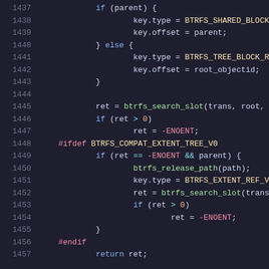[Figure (screenshot): Source code snippet showing C code lines 1437-1457 with syntax highlighting on dark background. Code handles btrfs_search_slot with parent/else block and #ifdef BTRFS_COMPAT_EXTENT_TREE_V0 conditional.]